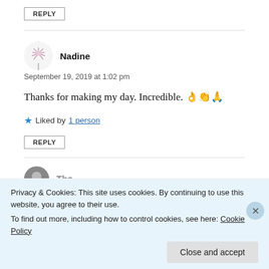REPLY
Nadine
September 19, 2019 at 1:02 pm
Thanks for making my day. Incredible. 👌👏🙏
★ Liked by 1 person
REPLY
Privacy & Cookies: This site uses cookies. By continuing to use this website, you agree to their use.
To find out more, including how to control cookies, see here: Cookie Policy
Close and accept